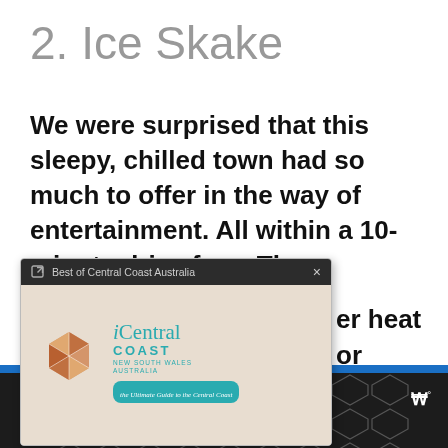2. Ice Skake
We were surprised that this sleepy, chilled town had so much to offer in the way of entertainment. All within a 10-minute drive from The Esplanade.
[Figure (screenshot): A popup browser overlay showing a link to 'Best of Central Coast Australia' with an iCentral Coast New South Wales Australia logo on a beige background with tagline 'the Ultimate Guide to the Central Coast']
er heat or et your ating
[Figure (screenshot): Bottom of page showing a blue progress bar and a dark strip with a geometric hexagonal pattern and a W-degree logo on the right]